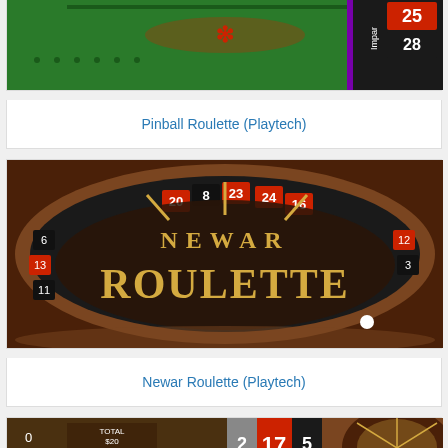[Figure (photo): Pinball Roulette game screenshot showing green roulette table with numbers including 25 and 28 visible]
Pinball Roulette (Playtech)
[Figure (photo): Newar Roulette game screenshot showing a roulette wheel with gold accents and text NEWAR ROULETTE on dark oval background]
Newar Roulette (Playtech)
[Figure (photo): Bottom partial screenshot of another roulette game showing numbers 17, 5, and a roulette wheel]